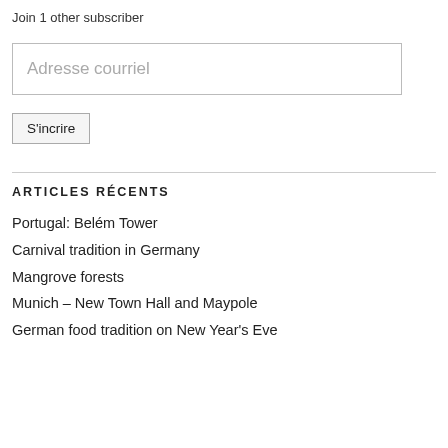Join 1 other subscriber
Adresse courriel
S'incrire
ARTICLES RÉCENTS
Portugal: Belém Tower
Carnival tradition in Germany
Mangrove forests
Munich – New Town Hall and Maypole
German food tradition on New Year's Eve